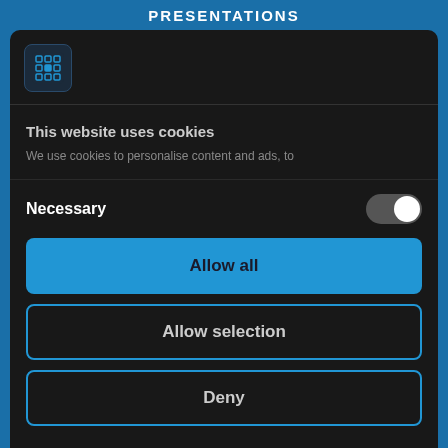PRESENTATIONS
[Figure (logo): Grid/cookie icon logo in dark blue rounded square]
This website uses cookies
We use cookies to personalise content and ads, to
Necessary
Allow all
Allow selection
Deny
Powered by Cookiebot by Usercentrics
09:00 - 12:30